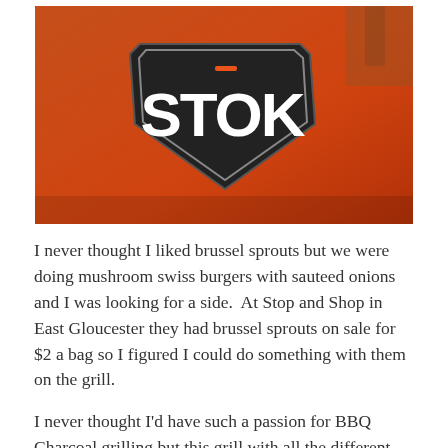[Figure (photo): Close-up photo of an orange surface with a black shield-shaped logo reading 'STOK' in large bold white letters, with a small orange accent mark above the 'O'.]
I never thought I liked brussel sprouts but we were doing mushroom swiss burgers with sauteed onions and I was looking for a side.  At Stop and Shop in East Gloucester they had brussel sprouts on sale for $2 a bag so I figured I could do something with them on the grill.
I never thought I'd have such a passion for BBQ Charcoal grilling but this grill with all the different inserts and the cast iron grates and the ash catching system at the bottom and the figuring out how to arrange your coals, it's just